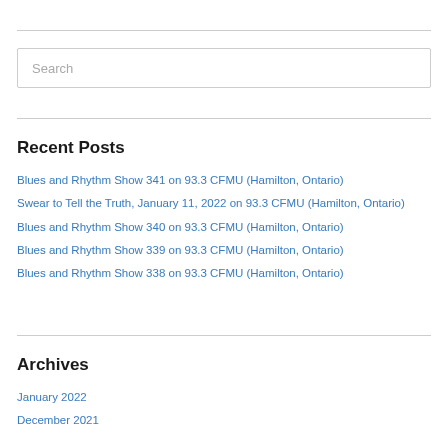Search
Recent Posts
Blues and Rhythm Show 341 on 93.3 CFMU (Hamilton, Ontario)
Swear to Tell the Truth, January 11, 2022 on 93.3 CFMU (Hamilton, Ontario)
Blues and Rhythm Show 340 on 93.3 CFMU (Hamilton, Ontario)
Blues and Rhythm Show 339 on 93.3 CFMU (Hamilton, Ontario)
Blues and Rhythm Show 338 on 93.3 CFMU (Hamilton, Ontario)
Archives
January 2022
December 2021